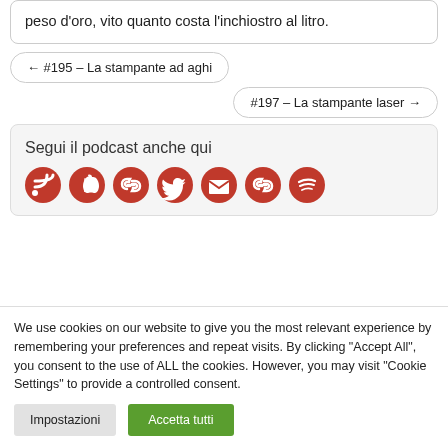peso d'oro, vito quanto costa l'inchiostro al litro.
← #195 – La stampante ad aghi
#197 – La stampante laser →
Segui il podcast anche qui
[Figure (illustration): Row of red social media icons: RSS feed, Apple Podcasts, chain link, Twitter, envelope/email, chain link, Spotify]
We use cookies on our website to give you the most relevant experience by remembering your preferences and repeat visits. By clicking "Accept All", you consent to the use of ALL the cookies. However, you may visit "Cookie Settings" to provide a controlled consent.
Impostazioni
Accetta tutti